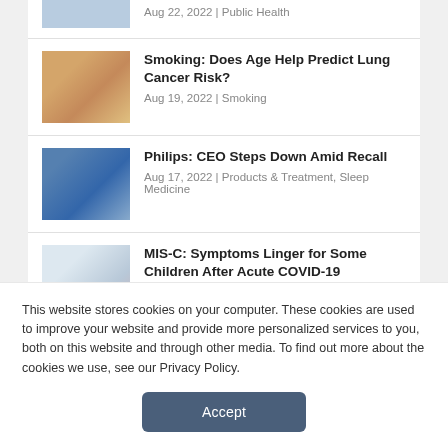Aug 22, 2022 | Public Health
Smoking: Does Age Help Predict Lung Cancer Risk?
Aug 19, 2022 | Smoking
Philips: CEO Steps Down Amid Recall
Aug 17, 2022 | Products & Treatment, Sleep Medicine
MIS-C: Symptoms Linger for Some Children After Acute COVID-19
Aug 17, 2022 | Public Health
This website stores cookies on your computer. These cookies are used to improve your website and provide more personalized services to you, both on this website and through other media. To find out more about the cookies we use, see our Privacy Policy.
Accept